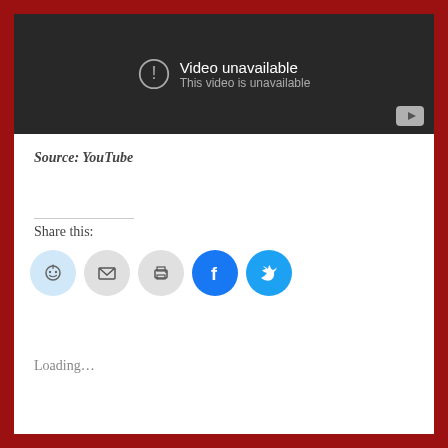[Figure (screenshot): YouTube video unavailable embed with dark background showing 'Video unavailable / This video is unavailable' message and YouTube button in bottom right]
Source: YouTube
Share this:
[Figure (infographic): Row of social share icon circles: Reddit, Email, Print, Facebook, Twitter]
Loading...